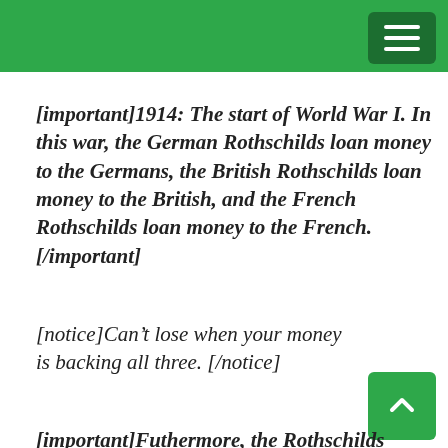[important]1914: The start of World War I. In this war, the German Rothschilds loan money to the Germans, the British Rothschilds loan money to the British, and the French Rothschilds loan money to the French.[/important]
[notice]Can’t lose when your money is backing all three. [/notice]
[important]Futhermore, the Rothschilds